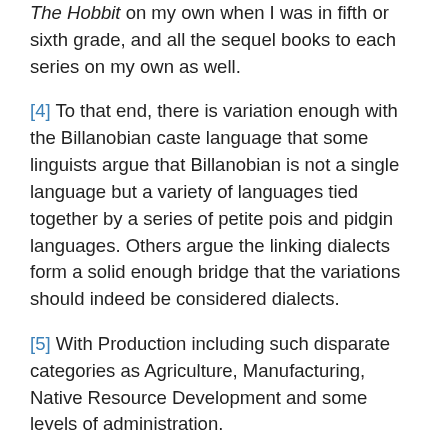The Hobbit on my own when I was in fifth or sixth grade, and all the sequel books to each series on my own as well.
[4] To that end, there is variation enough with the Billanobian caste language that some linguists argue that Billanobian is not a single language but a variety of languages tied together by a series of petite pois and pidgin languages. Others argue the linking dialects form a solid enough bridge that the variations should indeed be considered dialects.
[5] With Production including such disparate categories as Agriculture, Manufacturing, Native Resource Development and some levels of administration.
[6] Indeed, this was fortunate since most such misjumps result in large scale explosion or dispersal on a quantum